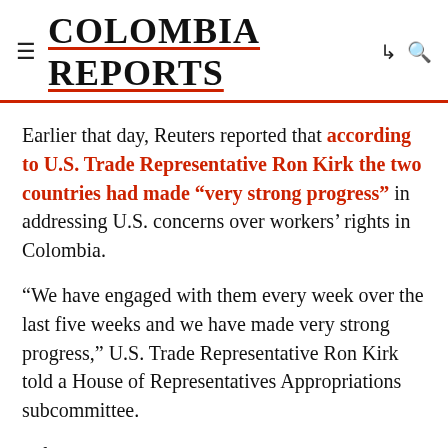COLOMBIA REPORTS
Earlier that day, Reuters reported that according to U.S. Trade Representative Ron Kirk the two countries had made “very strong progress” in addressing U.S. concerns over workers’ rights in Colombia.
“We have engaged with them every week over the last five weeks and we have made very strong progress,” U.S. Trade Representative Ron Kirk told a House of Representatives Appropriations subcommittee.
A free trade deal between Colombia and the U.S. would largely open up the Colombian markets for American goods without many of the duties that now exist. Officials have estimated the deal could increase U.S.